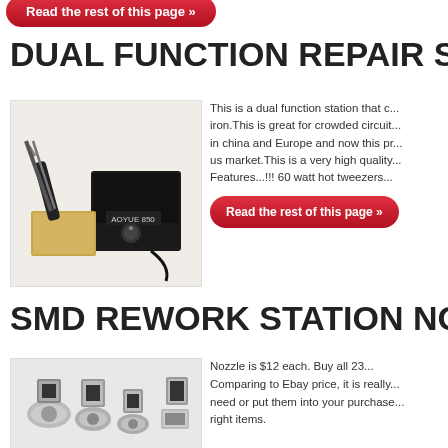[Figure (other): Red 'Read the rest of this page' pill button at top]
DUAL FUNCTION REPAIR STAT...
[Figure (photo): Photo of a dual function soldering/rework station with hot tweezers, labeled AOYUE 850]
This is a dual function station that c... iron.This is great for crowded circuit... in china and Europe and now this pr... us market.This is a very high quality... Features...!!! 60 watt hot tweezers...
[Figure (other): Red 'Read the rest of this page' pill button]
SMD REWORK STATION NOZZL...
[Figure (photo): Photo of multiple SMD rework station nozzles in various shapes]
Nozzle is $12 each. Buy all 23... Comparing to Ebay price, it is really... need or put them into your purchase... right items.